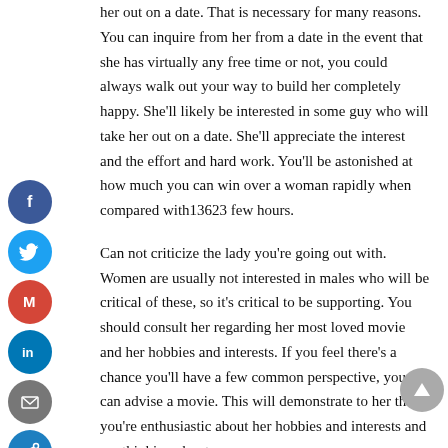her out on a date. That is necessary for many reasons. You can inquire from her from a date in the event that she has virtually any free time or not, you could always walk out your way to build her completely happy. She'll likely be interested in some guy who will take her out on a date. She'll appreciate the interest and the effort and hard work. You'll be astonished at how much you can win over a woman rapidly when compared with13623 few hours.
Can not criticize the lady you're going out with. Women are usually not interested in males who will be critical of these, so it's critical to be supporting. You should consult her regarding her most loved movie and her hobbies and interests. If you feel there's a chance you'll have a few common perspective, you can advise a movie. This will demonstrate to her that you're enthusiastic about her hobbies and interests and are thinking about
[Figure (other): Social media sharing icons sidebar: Facebook (blue circle with 'f'), Twitter (light blue circle with bird), Gmail (red circle with 'M'), LinkedIn (blue circle with 'in'), Email (gray circle with envelope), Share (dark blue circle with share icon)]
[Figure (other): Scroll-to-top button: gray circle with upward arrow]